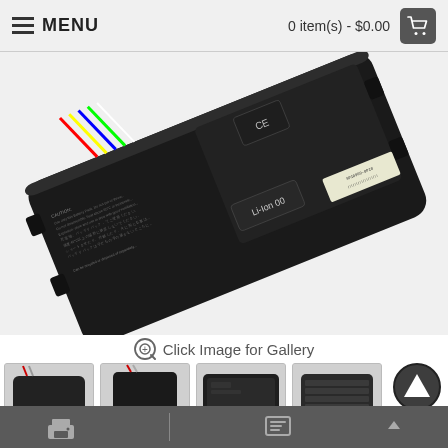MENU | 0 item(s) - $0.00
[Figure (photo): A black rechargeable Li-ion laptop battery pack (Toshiba), showing labels with safety warnings in multiple languages, CE and other certification marks, angled view showing connector wires at top.]
Click Image for Gallery
[Figure (photo): Thumbnail image 1: laptop battery side view]
[Figure (photo): Thumbnail image 2: laptop battery front-face view]
[Figure (photo): Thumbnail image 3: laptop battery connector view]
[Figure (photo): Thumbnail image 4: laptop battery back view]
Shipping icon | Printer icon